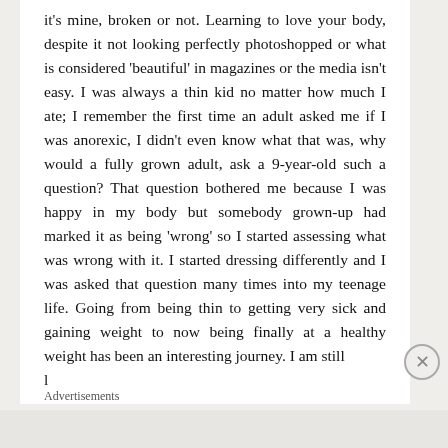it's mine, broken or not. Learning to love your body, despite it not looking perfectly photoshopped or what is considered 'beautiful' in magazines or the media isn't easy. I was always a thin kid no matter how much I ate; I remember the first time an adult asked me if I was anorexic, I didn't even know what that was, why would a fully grown adult, ask a 9-year-old such a question? That question bothered me because I was happy in my body but somebody grown-up had marked it as being 'wrong' so I started assessing what was wrong with it. I started dressing differently and I was asked that question many times into my teenage life. Going from being thin to getting very sick and gaining weight to now being finally at a healthy weight has been an interesting journey. I am still [truncated]
Advertisements